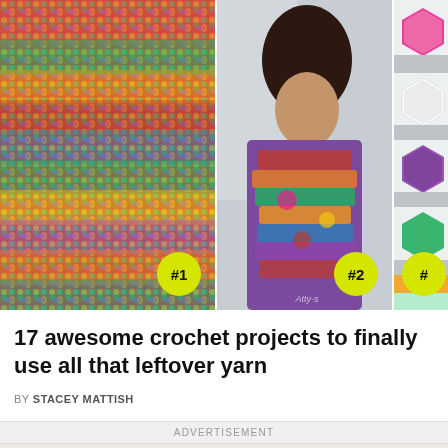[Figure (photo): Three-panel collage of crochet projects: left panel shows colorful rainbow crochet fabric texture with #1 badge; center panel shows a young Asian girl wearing a multicolored crochet shawl/scarf with #2 badge; right panel shows stacked colorful hexagon crochet granny squares (partially visible) with # badge.]
17 awesome crochet projects to finally use all that leftover yarn
BY STACEY MATTISH
ADVERTISEMENT
[Figure (photo): Bottom portion of a photo showing a chain necklace, a pink cylindrical object, and a green crochet-edged item on a light background.]